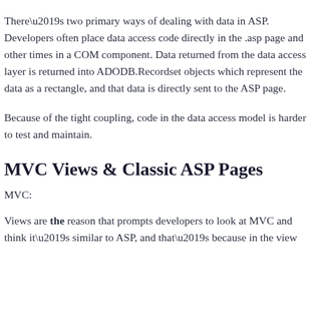There’s two primary ways of dealing with data in ASP. Developers often place data access code directly in the .asp page and other times in a COM component. Data returned from the data access layer is returned into ADODB.Recordset objects which represent the data as a rectangle, and that data is directly sent to the ASP page.
Because of the tight coupling, code in the data access model is harder to test and maintain.
MVC Views & Classic ASP Pages
MVC:
Views are the reason that prompts developers to look at MVC and think it’s similar to ASP, and that’s because in the view